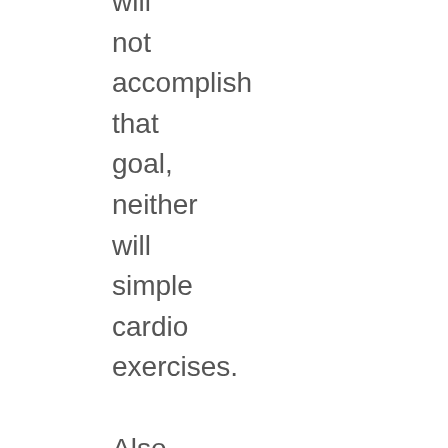will not accomplish that goal, neither will simple cardio exercises. Also cutting calories is a loser’s gambit in the long run. Your metabolism will adjust itself